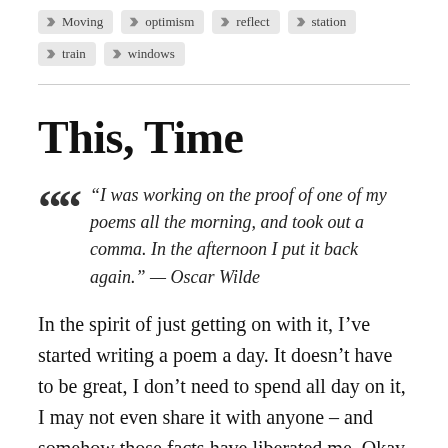Moving
optimism
reflect
station
train
windows
This, Time
“I was working on the proof of one of my poems all the morning, and took out a comma. In the afternoon I put it back again.” — Oscar Wilde
In the spirit of just getting on with it, I’ve started writing a poem a day. It doesn’t have to be great, I don’t need to spend all day on it, I may not even share it with anyone – and somehow those facts have liberated me. Okay, so this is only day